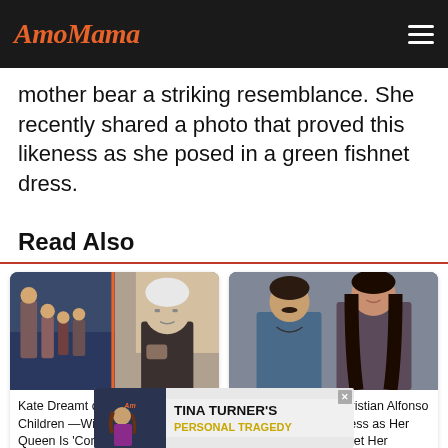AmoMama
mother bear a striking resemblance. She recently shared a photo that proved this likeness as she posed in a green fishnet dress.
Read Also
[Figure (photo): Split image: left side shows royal family group photo; right side shows elderly Queen Elizabeth II]
Kate Dreamt of Having 'At Least' 3 Children —William 'Worries' & Queen Is 'Concerned' about It
[Figure (photo): Man and woman posing together for promotional photo - Days of Our Lives cast]
Days of Our Lives' Kristian Alfonso Wed in the Same Dress as Her Character Hope - Meet Her Husband …
[Figure (photo): Advertisement banner: Tina Turner's Personal Tragedy with photo of woman and AmoMama logo]